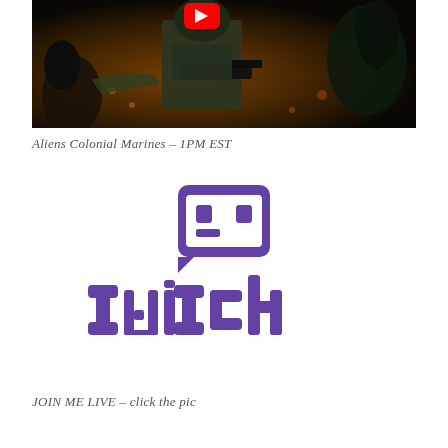[Figure (screenshot): A video game screenshot showing armored marines in a dark sci-fi setting, with a YouTube play button overlay in the center top area.]
Aliens Colonial Marines – 1PM EST
[Figure (logo): Twitch logo in purple — speech bubble icon with pixelated face above bold lowercase 'twitch' wordmark.]
JOIN ME LIVE – click the pic